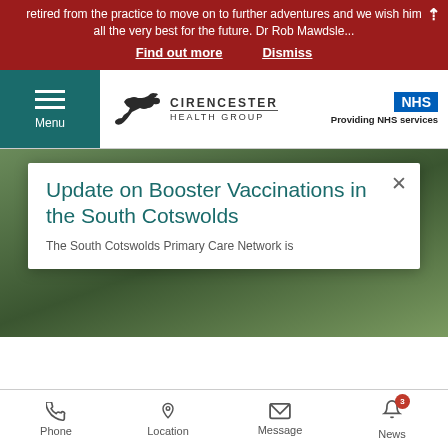retired from the practice to move on to further adventures and we wish him all the very best for the future. Dr Rob Mawdsle...
Find out more   Dismiss
[Figure (logo): Cirencester Health Group logo with running hare and NHS Providing NHS services badge]
Update on Booster Vaccinations in the South Cotswolds
The South Cotswolds Primary Care Network is
Phone   Location   Message   News (3)